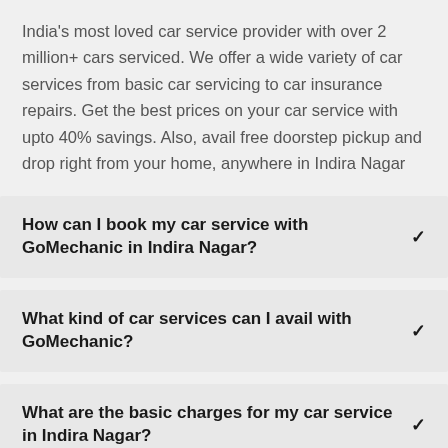India's most loved car service provider with over 2 million+ cars serviced. We offer a wide variety of car services from basic car servicing to car insurance repairs. Get the best prices on your car service with upto 40% savings. Also, avail free doorstep pickup and drop right from your home, anywhere in Indira Nagar
How can I book my car service with GoMechanic in Indira Nagar?
What kind of car services can I avail with GoMechanic?
What are the basic charges for my car service in Indira Nagar?
Do I have to drop my car to the workshop?